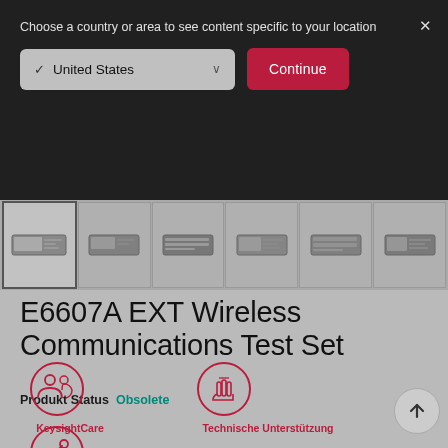Choose a country or area to see content specific to your location
✓ United States
Continue
[Figure (screenshot): Row of six product thumbnail images of Keysight E6607A EXT Wireless Communications Test Set devices]
E6607A EXT Wireless Communications Test Set
Produkt Status Obsolete
[Figure (illustration): KeysightCare icon - circle with people/users silhouette icon in crimson red]
KeysightCare
[Figure (illustration): Technische Unterstützung icon - circle with hand/touch gesture icon in crimson red]
Technische Unterstützung
[Figure (illustration): Partially visible icon circle at bottom left with wrench/tool symbol in crimson red]
[Figure (illustration): Scroll-to-top button - circle with upward arrow]